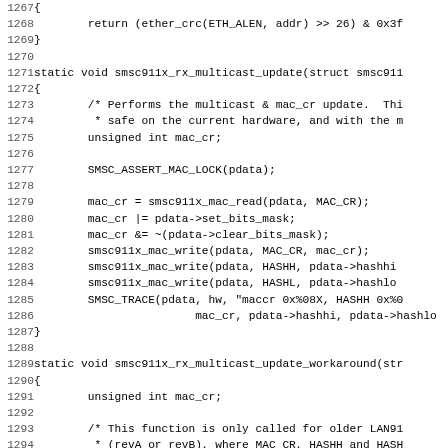[Figure (other): Source code listing in C, lines 1267-1299, showing smsc911x_rx_multicast_update and smsc911x_rx_multicast_update_workaround functions with line numbers on the left.]